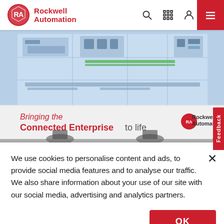Rockwell Automation
[Figure (photo): Rockwell Automation Connected Enterprise hero image showing an industrial control room with large display screens showing factory floor layout, chairs, and a banner reading 'Bringing the Connected Enterprise to life' with Rockwell Automation logo]
We use cookies to personalise content and ads, to provide social media features and to analyse our traffic. We also share information about your use of our site with our social media, advertising and analytics partners.